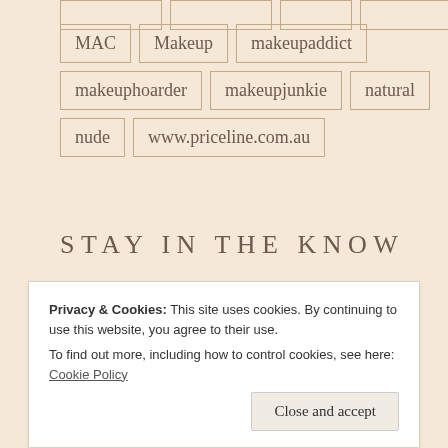MAC
Makeup
makeupaddict
makeuphoarder
makeupjunkie
natural
nude
www.priceline.com.au
STAY IN THE KNOW
[Figure (illustration): Facebook social media icon - purple circle with white Facebook 'f' logo]
[Figure (illustration): Instagram social media icon - purple circle with white Instagram camera logo]
Privacy & Cookies: This site uses cookies. By continuing to use this website, you agree to their use. To find out more, including how to control cookies, see here: Cookie Policy
Close and accept